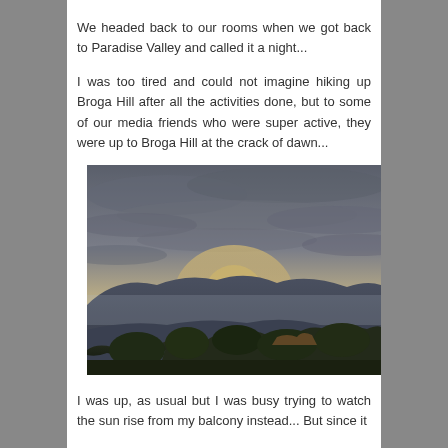We headed back to our rooms when we got back to Paradise Valley and called it a night...
I was too tired and could not imagine hiking up Broga Hill after all the activities done, but to some of our media friends who were super active, they were up to Broga Hill at the crack of dawn...
[Figure (photo): Landscape photograph showing a dramatic dawn sky with dark clouds and golden light rays breaking through over silhouetted hills and trees, taken from Broga Hill area.]
I was up, as usual but I was busy trying to watch the sun rise from my balcony instead... But since it